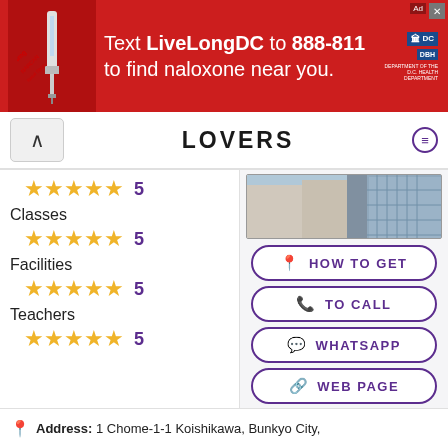[Figure (screenshot): Red advertisement banner: 'Text LiveLongDC to 888-811 to find naloxone near you.' with DC/DBH logos]
LOVERS
Classes  ★★★★★  5
Facilities  ★★★★★  5
Teachers  ★★★★★  5
[Figure (photo): Aerial view of school building in urban area, surrounded by streets and trees]
HOW TO GET
TO CALL
WHATSAPP
WEB PAGE
Address: 1 Chome-1-1 Koishikawa, Bunkyo City,